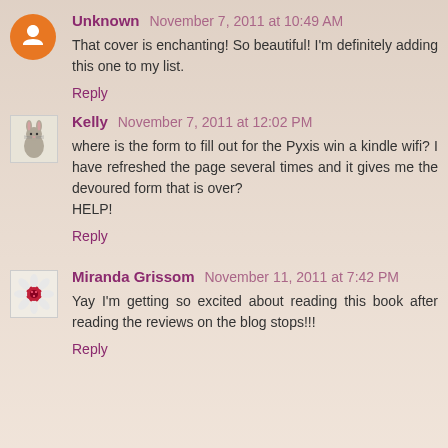Unknown November 7, 2011 at 10:49 AM
That cover is enchanting! So beautiful! I'm definitely adding this one to my list.
Reply
Kelly November 7, 2011 at 12:02 PM
where is the form to fill out for the Pyxis win a kindle wifi? I have refreshed the page several times and it gives me the devoured form that is over?
HELP!
Reply
Miranda Grissom November 11, 2011 at 7:42 PM
Yay I'm getting so excited about reading this book after reading the reviews on the blog stops!!!
Reply